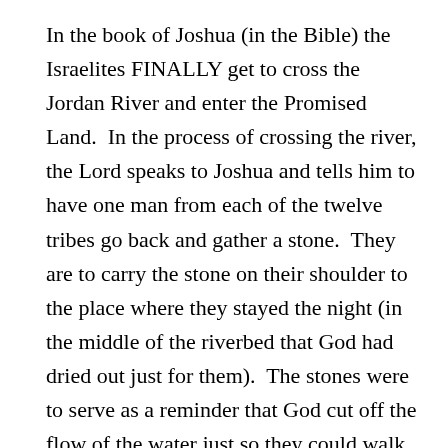In the book of Joshua (in the Bible) the Israelites FINALLY get to cross the Jordan River and enter the Promised Land.  In the process of crossing the river, the Lord speaks to Joshua and tells him to have one man from each of the twelve tribes go back and gather a stone.  They are to carry the stone on their shoulder to the place where they stayed the night (in the middle of the riverbed that God had dried out just for them).  The stones were to serve as a reminder that God cut off the flow of the water just so they could walk into the territory that had been promised to them.  Hope I haven't lost you, but this story is extremely significant to me at the moment. You see….

From 1998-2000 our family lived in a little Korean city